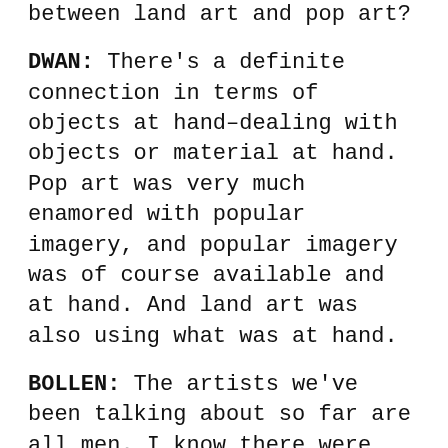between land art and pop art?
DWAN: There's a definite connection in terms of objects at hand–dealing with objects or material at hand. Pop art was very much enamored with popular imagery, and popular imagery was of course available and at hand. And land art was also using what was at hand.
BOLLEN: The artists we've been talking about so far are all men. I know there were women earthwork artists, like Nancy Holt–
DWAN: Nancy did her work later.